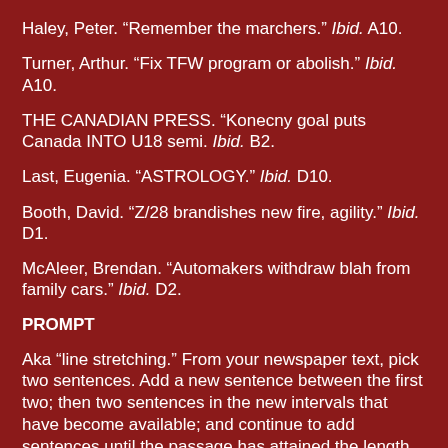Haley, Peter. “Remember the marchers.” Ibid. A10.
Turner, Arthur. “Fix TFW program or abolish.” Ibid. A10.
THE CANADIAN PRESS. “Konecny goal puts Canada INTO U18 semi. Ibid. B2.
Last, Eugenia. “ASTROLOGY.” Ibid. D10.
Booth, David. “Z/28 brandishes new fire, agility.” Ibid. D1.
McAleer, Brendan. “Automakers withdraw blah from family cars.” Ibid. D2.
PROMPT
Aka “line stretching.” From your newspaper text, pick two sentences. Add a new sentence between the first two; then two sentences in the new intervals that have become available; and continue to add sentences until the passage has attained the length desired. The supplementary